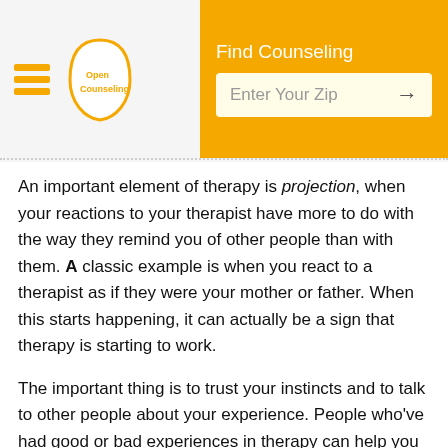Find Counseling | Enter Your Zip
An important element of therapy is projection, when your reactions to your therapist have more to do with the way they remind you of other people than with them. A classic example is when you react to a therapist as if they were your mother or father. When this starts happening, it can actually be a sign that therapy is starting to work.
The important thing is to trust your instincts and to talk to other people about your experience. People who've had good or bad experiences in therapy can help you understand how the process works, but be careful—other people have their own filters, prejudices, and blind spots. At the end of the day, if therapy has been making you feel worse for a long time and you don't feel like you're healing, it may be time to walk away and look for a new therapist.